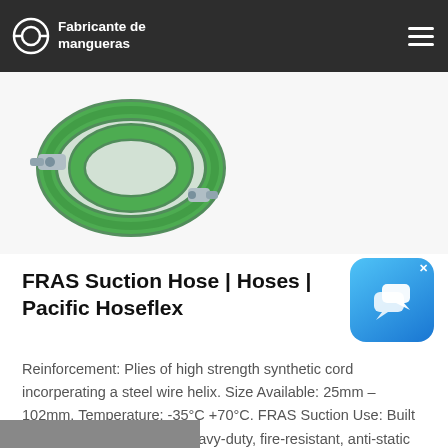Fabricante de mangueras
[Figure (photo): Coiled green industrial suction hose with metal fittings on both ends]
FRAS Suction Hose | Hoses | Pacific Hoseflex
[Figure (other): Blue chat/messaging app icon with speech bubble, with X close button]
Reinforcement: Plies of high strength synthetic cord incorperating a steel wire helix. Size Available: 25mm – 102mm. Temperature: -35°C +70°C. FRAS Suction Use: Built to AS2660 Class B. This heavy-duty, fire-resistant, anti-static suction hose is ideally suited for use in high fire risk industries. Low.
[Figure (photo): Bottom partial image strip, dark colored]